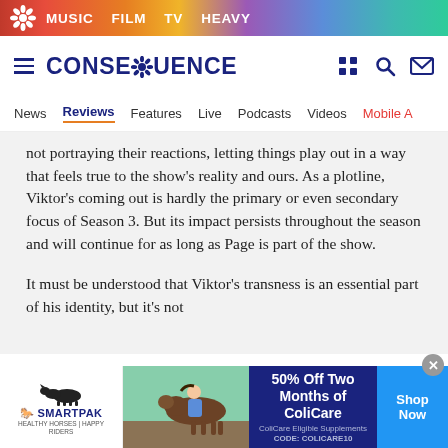MUSIC  FILM  TV  HEAVY
[Figure (logo): Consequence of Sound logo with daisy icon and navigation icons]
News  Reviews  Features  Live  Podcasts  Videos  Mobile A
not portraying their reactions, letting things play out in a way that feels true to the show's reality and ours. As a plotline, Viktor's coming out is hardly the primary or even secondary focus of Season 3. But its impact persists throughout the season and will continue for as long as Page is part of the show.
It must be understood that Viktor's transness is an essential part of his identity, but it's not the only part. So far, The Umbrella Academy has been...
[Figure (infographic): SmartPak advertisement: 50% Off Two Months of ColiCare, ColiCare Eligible Supplements, CODE: COLICARE10, Shop Now button]